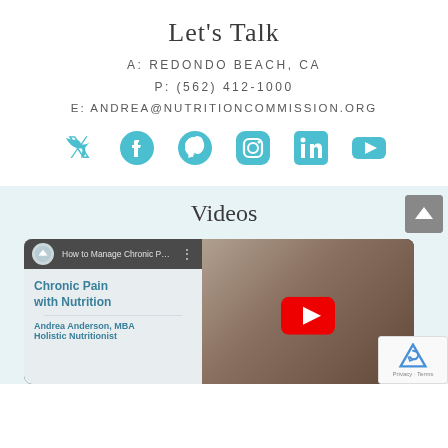Let's Talk
A: REDONDO BEACH, CA
P: (562) 412-1000
E: andrea@nutritioncommission.org
[Figure (infographic): Social media icons row: Twitter, Facebook, Pinterest, Instagram, LinkedIn, YouTube — all in teal/cyan color]
Videos
[Figure (screenshot): YouTube video thumbnail showing 'How to Manage Chronic Pai...' / 'Chronic Pain with Nutrition' by Andrea Anderson, MBA, Holistic Nutritionist, with a play button overlay and a woman's face on the right side]